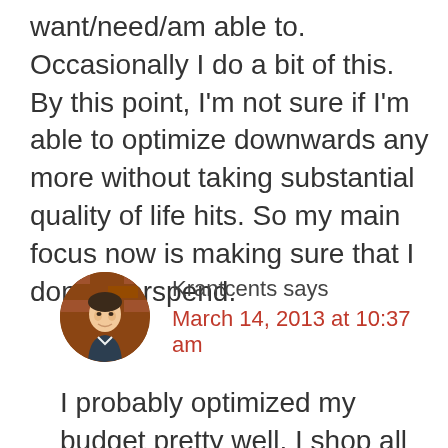want/need/am able to. Occasionally I do a bit of this. By this point, I'm not sure if I'm able to optimize downwards any more without taking substantial quality of life hits. So my main focus now is making sure that I don't overspend.
Krantcents says
March 14, 2013 at 10:37 am
[Figure (photo): Circular avatar photo of a man in front of a brick wall background]
I probably optimized my budget pretty well. I shop all my routine